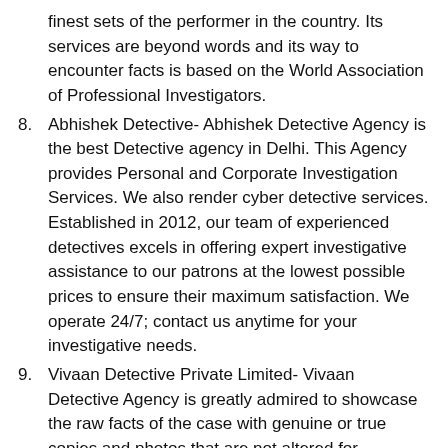finest sets of the performer in the country. Its services are beyond words and its way to encounter facts is based on the World Association of Professional Investigators.
8. Abhishek Detective- Abhishek Detective Agency is the best Detective agency in Delhi. This Agency provides Personal and Corporate Investigation Services. We also render cyber detective services. Established in 2012, our team of experienced detectives excels in offering expert investigative assistance to our patrons at the lowest possible prices to ensure their maximum satisfaction. We operate 24/7; contact us anytime for your investigative needs.
9. Vivaan Detective Private Limited- Vivaan Detective Agency is greatly admired to showcase the raw facts of the case with genuine or true copies and photos that are not altered for beneficial usage. Established in the year 2000, Apex Detective Agency carries great challenge